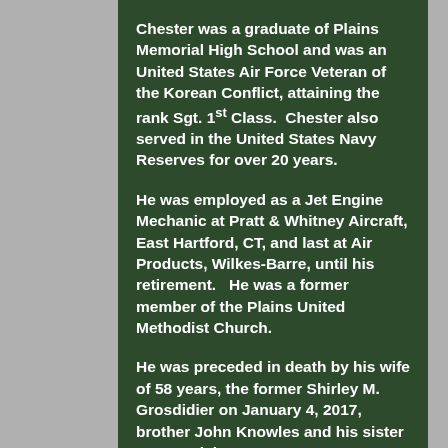Chester was a graduate of Plains Memorial High School and was an United States Air Force Veteran of the Korean Conflict, attaining the rank Sgt. 1st Class. Chester also served in the United States Navy Reserves for over 20 years.
He was employed as a Jet Engine Mechanic at Pratt & Whitney Aircraft, East Hartford, CT, and last at Air Products, Wilkes-Barre, until his retirement. He was a former member of the Plains United Methodist Church.
He was preceded in death by his wife of 58 years, the former Shirley M. Grosdidier on January 4, 2017, brother John Knowles and his sister Betty Hulsizer.
Surviving are his son Bruce R. Knowles and his wife Marianne, Plains, daughter Brenda J.